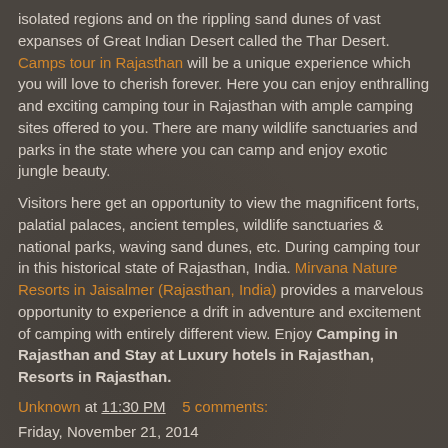isolated regions and on the rippling sand dunes of vast expanses of Great Indian Desert called the Thar Desert. Camps tour in Rajasthan will be a unique experience which you will love to cherish forever. Here you can enjoy enthralling and exciting camping tour in Rajasthan with ample camping sites offered to you. There are many wildlife sanctuaries and parks in the state where you can camp and enjoy exotic jungle beauty.
Visitors here get an opportunity to view the magnificent forts, palatial palaces, ancient temples, wildlife sanctuaries & national parks, waving sand dunes, etc. During camping tour in this historical state of Rajasthan, India. Mirvana Nature Resorts in Jaisalmer (Rajasthan, India) provides a marvelous opportunity to experience a drift in adventure and excitement of camping with entirely different view. Enjoy Camping in Rajasthan and Stay at Luxury hotels in Rajasthan, Resorts in Rajasthan.
Unknown at 11:30 PM    5 comments:
Friday, November 21, 2014